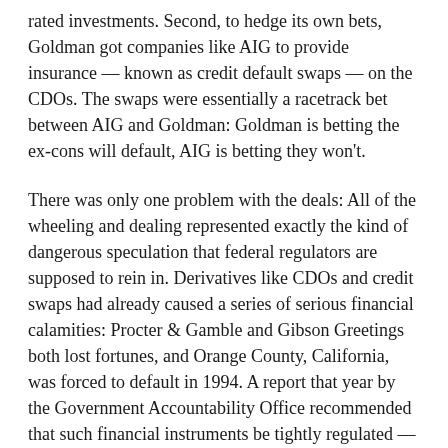rated investments. Second, to hedge its own bets, Goldman got companies like AIG to provide insurance — known as credit default swaps — on the CDOs. The swaps were essentially a racetrack bet between AIG and Goldman: Goldman is betting the ex-cons will default, AIG is betting they won't.
There was only one problem with the deals: All of the wheeling and dealing represented exactly the kind of dangerous speculation that federal regulators are supposed to rein in. Derivatives like CDOs and credit swaps had already caused a series of serious financial calamities: Procter & Gamble and Gibson Greetings both lost fortunes, and Orange County, California, was forced to default in 1994. A report that year by the Government Accountability Office recommended that such financial instruments be tightly regulated — and in 1998, the head of the Commodity Futures Trading Commission, a woman named Brooksley Born, agreed. That May, she circulated a letter to business leaders and the Clinton